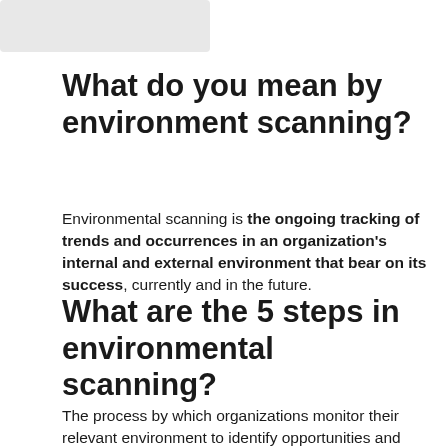[Figure (other): Greyed out image/logo placeholder in top left corner]
What do you mean by environment scanning?
Environmental scanning is the ongoing tracking of trends and occurrences in an organization's internal and external environment that bear on its success, currently and in the future.
What are the 5 steps in environmental scanning?
The process by which organizations monitor their relevant environment to identify opportunities and threats affecting their